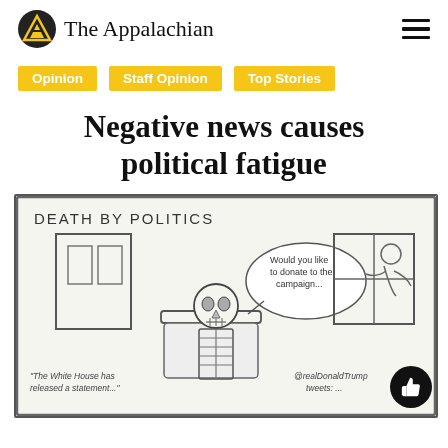The Appalachian
Opinion
Staff Opinion
Top Stories
Negative news causes political fatigue
[Figure (illustration): Cartoon titled 'DEATH BY POLITICS' showing a skeleton sitting in a chair, with a speech bubble saying 'Would you like to donate to the campaign...', text at bottom left reading '"The White House has released a statement..."', text at bottom right reading '@realDonaldTrump tweets:...', and a figure visible through a window on the right side.]